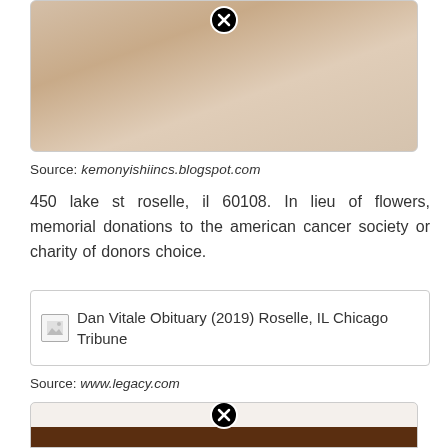[Figure (photo): Partial photo at top of page, showing a person, partially cropped with close button overlay]
Source: kemonyishiincs.blogspot.com
450 lake st roselle, il 60108. In lieu of flowers, memorial donations to the american cancer society or charity of donors choice.
[Figure (screenshot): Dan Vitale Obituary (2019) Roselle, IL Chicago Tribune - image placeholder with caption text visible]
Source: www.legacy.com
The caring memorial directors at salerno rosedale chapels provide customized funeral services designed to meet the needs of each family. Christians in business salerno rosedale chapels details.
[Figure (photo): Bottom partial image with dark brown bar, partially visible, with close button overlay]